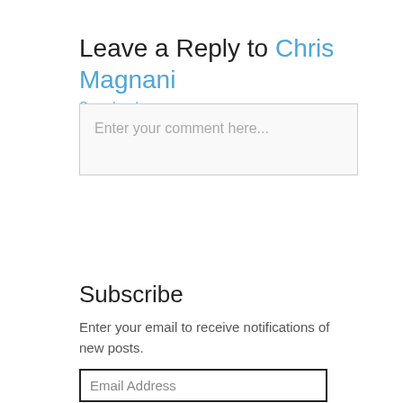Leave a Reply to Chris Magnani
Cancel reply
[Figure (screenshot): Comment text area input box with placeholder text 'Enter your comment here...']
Subscribe
Enter your email to receive notifications of new posts.
[Figure (screenshot): Email Address input field with dark border]
[Figure (screenshot): Subscribe button]